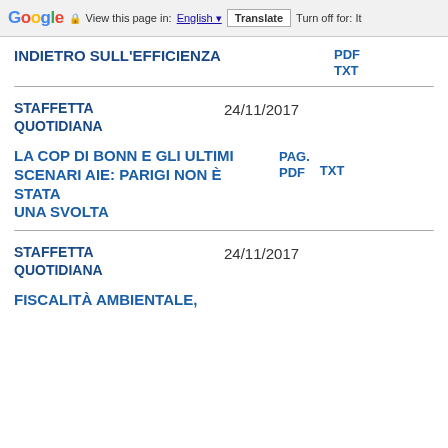Google  View this page in: English  Translate  Turn off for: It
INDIETRO SULL'EFFICIENZA
PDF  TXT
STAFFETTA QUOTIDIANA  24/11/2017
LA COP DI BONN E GLI ULTIMI SCENARI AIE: PARIGI NON È STATA UNA SVOLTA
PAG. PDF  TXT
STAFFETTA QUOTIDIANA  24/11/2017
FISCALITÀ AMBIENTALE,